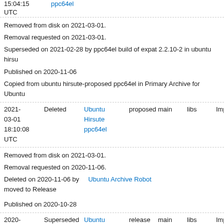15:04:15 UTC  ppc64el
Removed from disk on 2021-03-01.
Removal requested on 2021-03-01.
Superseded on 2021-02-28 by ppc64el build of expat 2.2.10-2 in ubuntu hirsu
Published on 2020-11-06
Copied from ubuntu hirsute-proposed ppc64el in Primary Archive for Ubuntu
| Date | Status | Distribution | Pocket | Component | Section | Urgency |
| --- | --- | --- | --- | --- | --- | --- |
| 2021-03-01 18:10:08 UTC | Deleted | Ubuntu Hirsute ppc64el | proposed | main | libs | Important |
Removed from disk on 2021-03-01.
Removal requested on 2020-11-06.
Deleted on 2020-11-06 by Ubuntu Archive Robot moved to Release
Published on 2020-10-28
| Date | Status | Distribution | Pocket | Component | Section | Urgency |
| --- | --- | --- | --- | --- | --- | --- |
| 2020-11-06 04:04:02 UTC | Superseded | Ubuntu Hirsute ppc64el | release | main | libs | Important |
Removal requested on 2020-11-07.